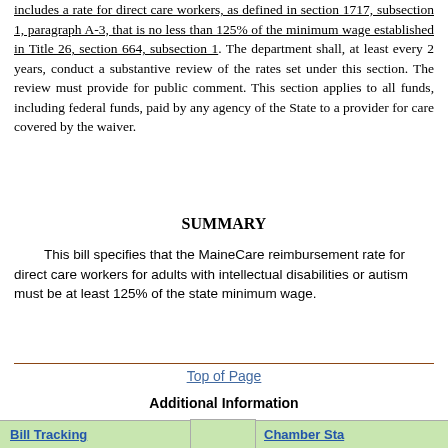includes a rate for direct care workers, as defined in section 1717, subsection 1, paragraph A-3, that is no less than 125% of the minimum wage established in Title 26, section 664, subsection 1. The department shall, at least every 2 years, conduct a substantive review of the rates set under this section. The review must provide for public comment. This section applies to all funds, including federal funds, paid by any agency of the State to a provider for care covered by the waiver.
SUMMARY
This bill specifies that the MaineCare reimbursement rate for direct care workers for adults with intellectual disabilities or autism must be at least 125% of the state minimum wage.
Top of Page
Additional Information
Bill Tracking | Chamber Sta...